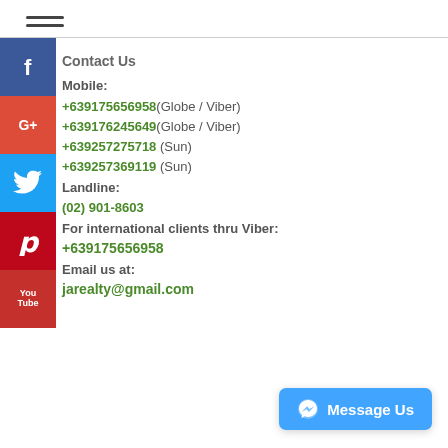☰ (hamburger menu icon)
Contact Us
Mobile:
+639175656958(Globe / Viber)
+639176245649(Globe / Viber)
+639257275718 (Sun)
+639257369119 (Sun)
Landline:
(02) 901-8603
For international clients thru Viber:
+639175656958
Email us at:
jarealty@gmail.com
[Figure (logo): Social media buttons: Facebook, Google+, Twitter, Pinterest, YouTube]
Message Us